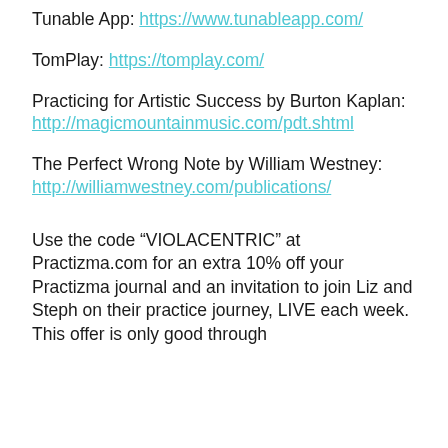Tunable App: https://www.tunableapp.com/
TomPlay: https://tomplay.com/
Practicing for Artistic Success by Burton Kaplan: http://magicmountainmusic.com/pdt.shtml
The Perfect Wrong Note by William Westney: http://williamwestney.com/publications/
Use the code “VIOLACENTRIC” at Practizma.com for an extra 10% off your Practizma journal and an invitation to join Liz and Steph on their practice journey, LIVE each week. This offer is only good through